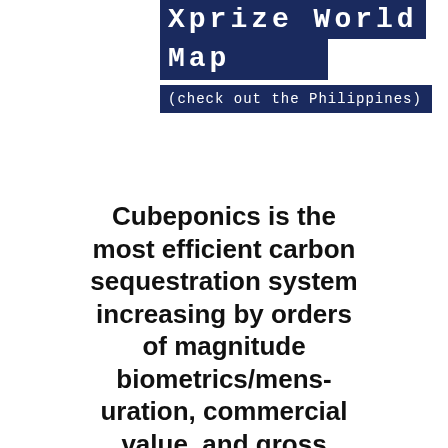Xprize World Map
(check out the Philippines)
Cubeponics is the most efficient carbon sequestration system increasing by orders of magnitude biometrics/mensuration, commercial value, and gross domestic product from neglected secondary forests. This